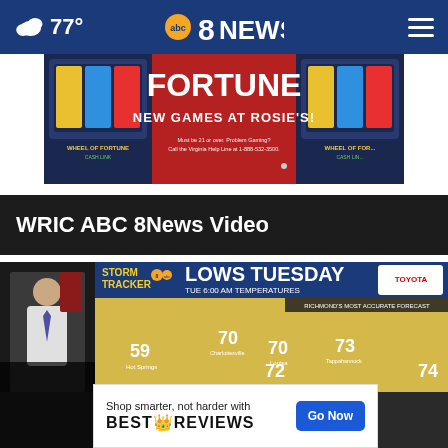77° abc 8NEWS
[Figure (screenshot): Advertisement for Wheel of Fortune slot machines at Rosie's — red background, large 'FORTUNE' text, 'NEW GAMES AT ROSIE'S!', slot machine imagery on sides. Disclaimer: Must be 21 or over. Problem Gaming? Call the Virginia Help Line at 1-888-532-3500.]
WRIC ABC 8News Video
[Figure (screenshot): Video thumbnail showing a news anchor on left and Storm Tracker 8 weather map on right with 'LOWS TUESDAY TUE 6:00 AM TEMPERATURES' header. Temperature values: 59 (Hot Springs), 70 (Charlottesville), 70 (Louisa), 72 (Hopewell), 73 (Tappahannock), 74 (Norfolk). Sponsored by Toyota. Richmond's Most Accurate Forecast. Overlay text: DIGITAL WEATHER FORECAST. Share icon top right. Close (X) button.]
[Figure (screenshot): In-video advertisement overlay: 'Shop smarter, not harder with BESTREVIEWS' with a 'Go Now' blue button.]